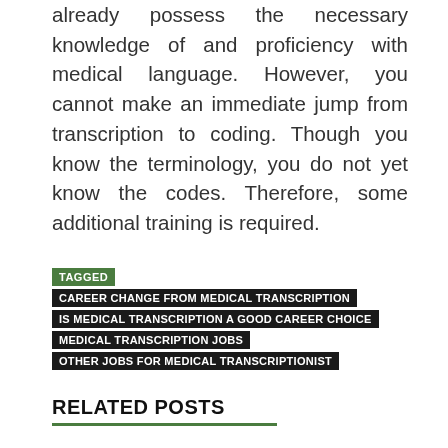already possess the necessary knowledge of and proficiency with medical language. However, you cannot make an immediate jump from transcription to coding. Though you know the terminology, you do not yet know the codes. Therefore, some additional training is required.
TAGGED CAREER CHANGE FROM MEDICAL TRANSCRIPTION IS MEDICAL TRANSCRIPTION A GOOD CAREER CHOICE MEDICAL TRANSCRIPTION JOBS OTHER JOBS FOR MEDICAL TRANSCRIPTIONIST
RELATED POSTS